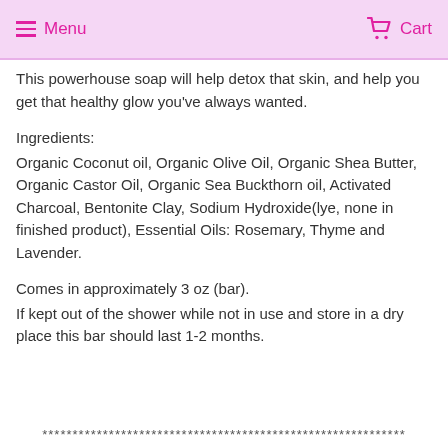Menu  Cart
This powerhouse soap will help detox that skin, and help you get that healthy glow you've always wanted.
Ingredients:
Organic Coconut oil, Organic Olive Oil, Organic Shea Butter, Organic Castor Oil, Organic Sea Buckthorn oil, Activated Charcoal, Bentonite Clay, Sodium Hydroxide(lye, none in finished product), Essential Oils: Rosemary, Thyme and Lavender.
Comes in approximately 3 oz (bar).
If kept out of the shower while not in use and store in a dry place this bar should last 1-2 months.
************************************************************